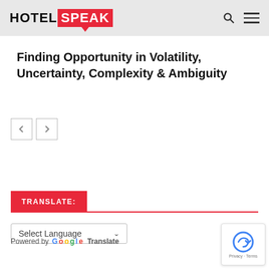HOTEL SPEAK
Finding Opportunity in Volatility, Uncertainty, Complexity & Ambiguity
TRANSLATE:
Select Language
Powered by Google Translate